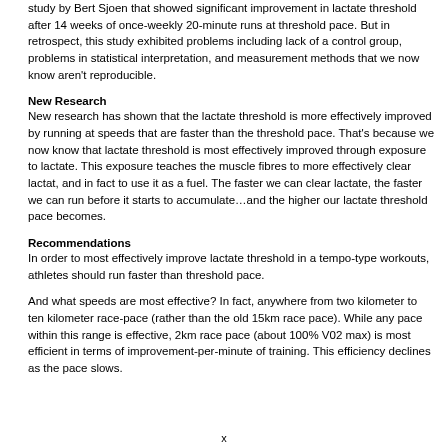study by Bert Sjoen that showed significant improvement in lactate threshold after 14 weeks of once-weekly 20-minute runs at threshold pace. But in retrospect, this study exhibited problems including lack of a control group, problems in statistical interpretation, and measurement methods that we now know aren't reproducible.
New Research
New research has shown that the lactate threshold is more effectively improved by running at speeds that are faster than the threshold pace. That's because we now know that lactate threshold is most effectively improved through exposure to lactate. This exposure teaches the muscle fibres to more effectively clear lactat, and in fact to use it as a fuel. The faster we can clear lactate, the faster we can run before it starts to accumulate…and the higher our lactate threshold pace becomes.
Recommendations
In order to most effectively improve lactate threshold in a tempo-type workouts, athletes should run faster than threshold pace.
And what speeds are most effective? In fact, anywhere from two kilometer to ten kilometer race-pace (rather than the old 15km race pace). While any pace within this range is effective, 2km race pace (about 100% V02 max) is most efficient in terms of improvement-per-minute of training. This efficiency declines as the pace slows.
x